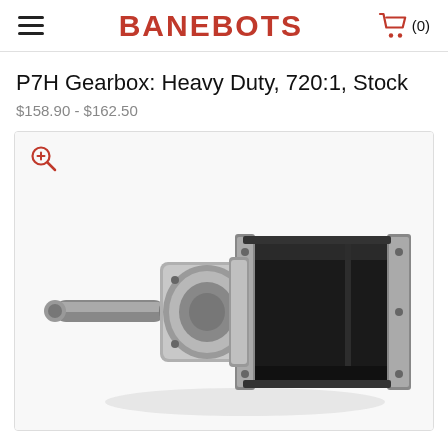BANEBOTS
P7H Gearbox: Heavy Duty, 720:1, Stock
$158.90 - $162.50
[Figure (photo): P7H heavy duty planetary gearbox with 720:1 ratio. Black cylindrical motor body with square end plates and silver metal planetary gearhead with output shaft extending to the left. The gearbox is mounted horizontally on a white background.]